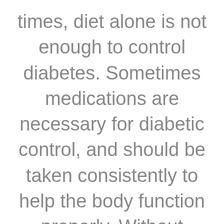times, diet alone is not enough to control diabetes. Sometimes medications are necessary for diabetic control, and should be taken consistently to help the body function properly. Without proper diabetic control, severe side effects and symptoms can develop